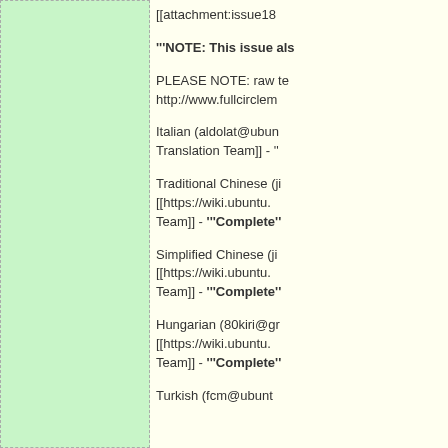[Figure (other): Green tinted panel on the left side of the page, appears to be a decorative or image placeholder area with light green background and dashed border]
[[attachment:issue18
'''NOTE: This issue als
PLEASE NOTE: raw te http://www.fullcirclem
Italian (aldolat@ubun Translation Team]] - '
Traditional Chinese (ji [[https://wiki.ubuntu. Team]] - '''Complete''
Simplified Chinese (ji [[https://wiki.ubuntu. Team]] - '''Complete''
Hungarian (80kiri@gr [[https://wiki.ubuntu. Team]] - '''Complete''
Turkish (fcm@ubunt